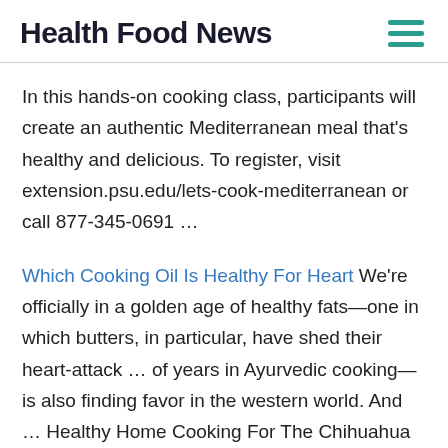Health Food News
In this hands-on cooking class, participants will create an authentic Mediterranean meal that's healthy and delicious. To register, visit extension.psu.edu/lets-cook-mediterranean or call 877-345-0691 …
Which Cooking Oil Is Healthy For Heart We're officially in a golden age of healthy fats—one in which butters, in particular, have shed their heart-attack … of years in Ayurvedic cooking—is also finding favor in the western world. And … Healthy Home Cooking For The Chihuahua Pdf Learn To Cook Healthy healthy cooked meals Delivered To Your Home Pbs Healthy cooking shows